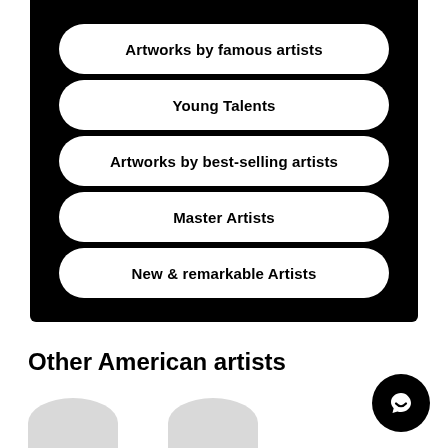Artworks by famous artists
Young Talents
Artworks by best-selling artists
Master Artists
New & remarkable Artists
Other American artists